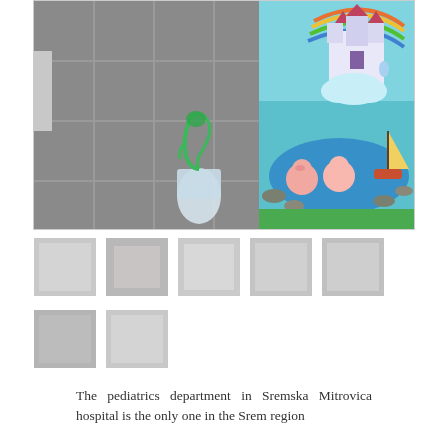[Figure (photo): Hospital pediatrics department room with grey tiled walls. On the left side is a medical oxygen mask holder with a green oxygen mask attached to a humidifier bottle. On the right side is a colorful children's mural painted on the wall showing a fairytale castle, rainbow, cartoon pigs in a pond, and a sailboat.]
[Figure (photo): Row of 5 small thumbnail photos related to the pediatrics department, appearing as grey placeholder thumbnails.]
[Figure (photo): Row of 2 small thumbnail photos related to the pediatrics department, appearing as grey placeholder thumbnails.]
The pediatrics department in Sremska Mitrovica hospital is the only one in the Srem region